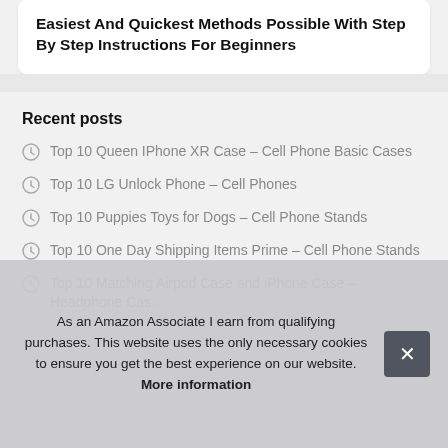Easiest And Quickest Methods Possible With Step By Step Instructions For Beginners
Recent posts
Top 10 Queen IPhone XR Case – Cell Phone Basic Cases
Top 10 LG Unlock Phone – Cell Phones
Top 10 Puppies Toys for Dogs – Cell Phone Stands
Top 10 One Day Shipping Items Prime – Cell Phone Stands
Top 10 Matching Airpod Case and iPhone Case – Headphone Cases
As an Amazon Associate I earn from qualifying purchases. This website uses the only necessary cookies to ensure you get the best experience on our website. More information